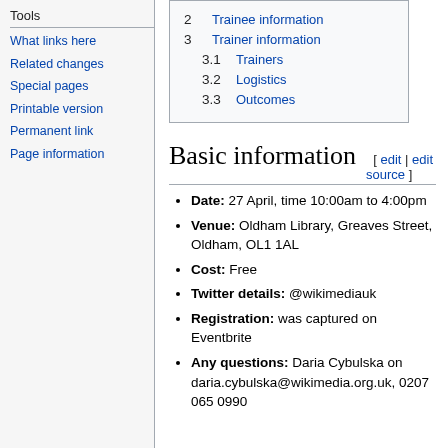Tools
What links here
Related changes
Special pages
Printable version
Permanent link
Page information
| 2 | Trainee information |
| 3 | Trainer information |
| 3.1 | Trainers |
| 3.2 | Logistics |
| 3.3 | Outcomes |
Basic information [ edit | edit source ]
Date: 27 April, time 10:00am to 4:00pm
Venue: Oldham Library, Greaves Street, Oldham, OL1 1AL
Cost: Free
Twitter details: @wikimediauk
Registration: was captured on Eventbrite
Any questions: Daria Cybulska on daria.cybulska@wikimedia.org.uk, 0207 065 0990